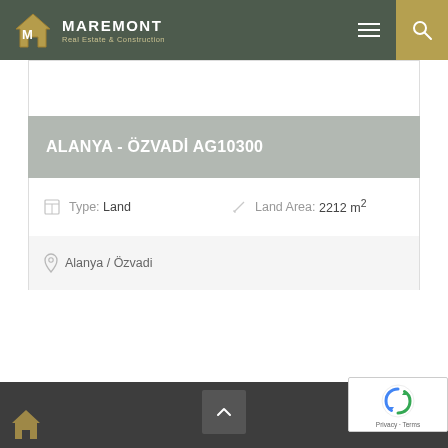MAREMONT Real Estate & Construction
ALANYA - ÖZVADİ AG10300
Type: Land   Land Area: 2212 m²
Alanya / Özvadi
Privacy · Terms